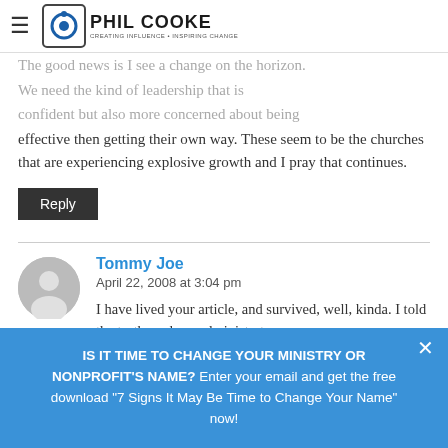Phil Cooke - Creating Influence · Inspiring Change
The good news is I see a change on the horizon. We need the kind of leadership that is confident but also more concerned about being effective then getting their own way. These seem to be the churches that are experiencing explosive growth and I pray that continues.
Reply
Tommy Joe
April 22, 2008 at 3:04 pm
I have lived your article, and survived, well, kinda. I told the truth, and my administrator listened and said that he wanted to change
IS IT TIME TO CHANGE YOUR MINISTRY OR NONPROFIT'S NAME? Enter your email and get the free download "7 Signs It May Be Time to Change Your Name" now!